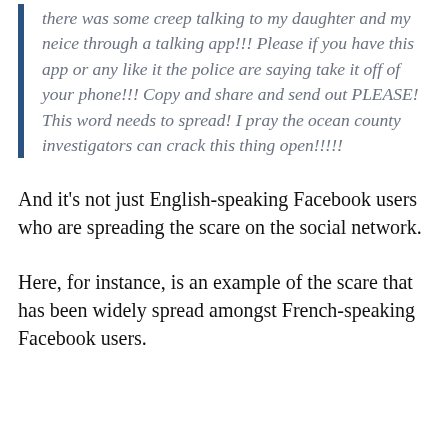there was some creep talking to my daughter and my neice through a talking app!!! Please if you have this app or any like it the police are saying take it off of your phone!!! Copy and share and send out PLEASE! This word needs to spread! I pray the ocean county investigators can crack this thing open!!!!!
And it's not just English-speaking Facebook users who are spreading the scare on the social network.
Here, for instance, is an example of the scare that has been widely spread amongst French-speaking Facebook users.